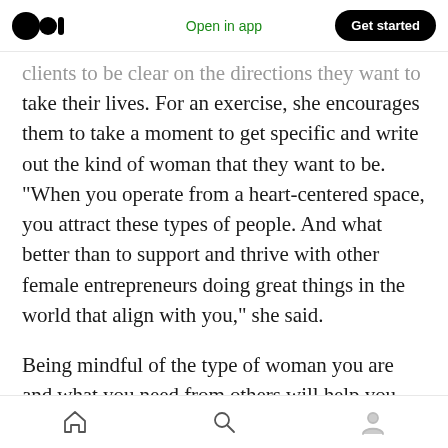Open in app | Get started
clients to be clear on the directions they want to take their lives. For an exercise, she encourages them to take a moment to get specific and write out the kind of woman that they want to be. “When you operate from a heart-centered space, you attract these types of people. And what better than to support and thrive with other female entrepreneurs doing great things in the world that align with you,” she said.
Being mindful of the type of woman you are and what you need from others will help you excel in what you’re doing. Knowing what you need from
Home | Search | Profile